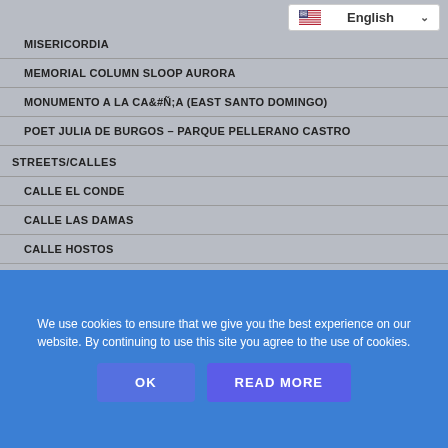MISERICORDIA
MEMORIAL COLUMN SLOOP AURORA
MONUMENTO A LA CAÑA (EAST SANTO DOMINGO)
POET JULIA DE BURGOS – PARQUE PELLERANO CASTRO
STREETS/CALLES
CALLE EL CONDE
CALLE LAS DAMAS
CALLE HOSTOS
SANTO DOMINGO SIGHTS, MONUMENTS & PARKS
We use cookies to ensure that we give you the best experience on our website. By continuing to use this site you agree to the use of cookies.